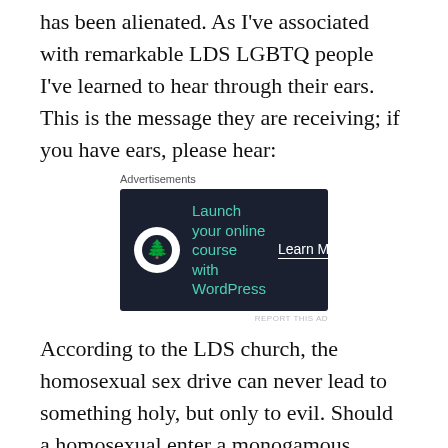has been alienated. As I've associated with remarkable LDS LGBTQ people I've learned to hear through their ears. This is the message they are receiving; if you have ears, please hear:
[Figure (screenshot): Advertisement banner with dark background showing a tree icon and text 'Launch your online course with WordPress' with a 'Learn More' call-to-action button]
According to the LDS church, the homosexual sex drive can never lead to something holy, but only to evil. Should a homosexual enter a monogamous, same-sex marriage as a virgin, s/he is not applauded as are heterosexuals who do this, but are excommunicated and stripped of eternal blessings. At the same time,